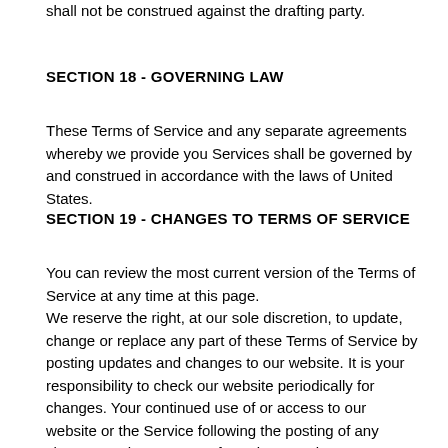Any ambiguities in the interpretation of these Terms of Service shall not be construed against the drafting party.
SECTION 18 - GOVERNING LAW
These Terms of Service and any separate agreements whereby we provide you Services shall be governed by and construed in accordance with the laws of United States.
SECTION 19 - CHANGES TO TERMS OF SERVICE
You can review the most current version of the Terms of Service at any time at this page.
We reserve the right, at our sole discretion, to update, change or replace any part of these Terms of Service by posting updates and changes to our website. It is your responsibility to check our website periodically for changes. Your continued use of or access to our website or the Service following the posting of any changes to these Terms of Service constitutes acceptance of those changes.